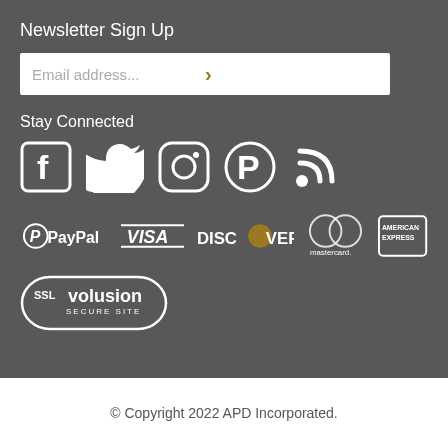Newsletter Sign Up
[Figure (infographic): Email address input field with a gold right-arrow button]
Stay Connected
[Figure (infographic): Social media icons: Facebook, Twitter, Instagram, Pinterest, RSS feed — all white on dark background]
[Figure (infographic): Payment method logos: PayPal, VISA, DISCOVER, Mastercard, American Express — all white/grey on dark background]
[Figure (logo): SSL Volusion Secure Site badge — white outlined oval with SSL and Volusion text]
© Copyright 2022 APD Incorporated.